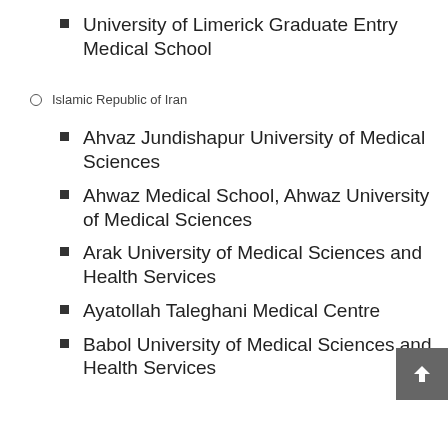College Dublin School of Medicine
University of Limerick Graduate Entry Medical School
Islamic Republic of Iran
Ahvaz Jundishapur University of Medical Sciences
Ahwaz Medical School, Ahwaz University of Medical Sciences
Arak University of Medical Sciences and Health Services
Ayatollah Taleghani Medical Centre
Babol University of Medical Sciences and Health Services